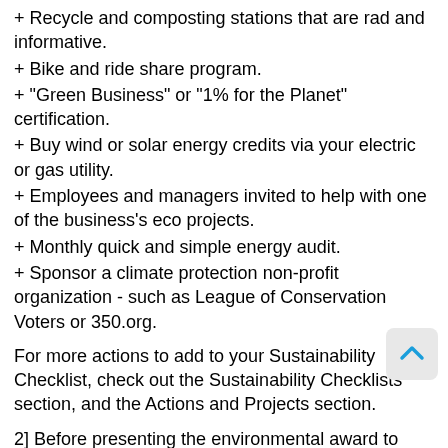+ Recycle and composting stations that are rad and informative.
+ Bike and ride share program.
+ "Green Business" or "1% for the Planet" certification.
+ Buy wind or solar energy credits via your electric or gas utility.
+ Employees and managers invited to help with one of the business's eco projects.
+ Monthly quick and simple energy audit.
+ Sponsor a climate protection non-profit organization - such as League of Conservation Voters or 350.org.
For more actions to add to your Sustainability Checklist, check out the Sustainability Checklists section, and the Actions and Projects section.
2] Before presenting the environmental award to manager, offer to video the 'environmental award